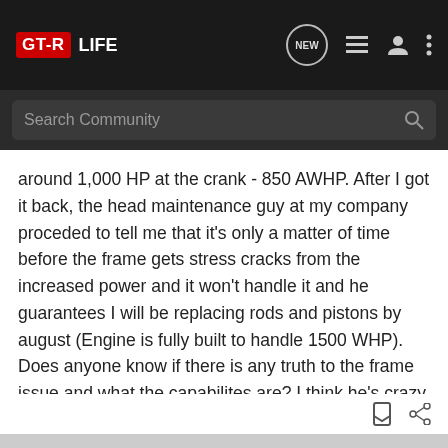GT-R LIFE
around 1,000 HP at the crank - 850 AWHP. After I got it back, the head maintenance guy at my company proceded to tell me that it's only a matter of time before the frame gets stress cracks from the increased power and it won't handle it and he guarantees I will be replacing rods and pistons by august (Engine is fully built to handle 1500 WHP). Does anyone know if there is any truth to the frame issue and what the capabilites are? I think he's crazy and full of shit as he's used to working on 1970's motors with 300hp. Let me know if anyone can shed any light on the frame or any other stock component of the car that cannot handle the stress of 1,000 crank HP. Thanks!